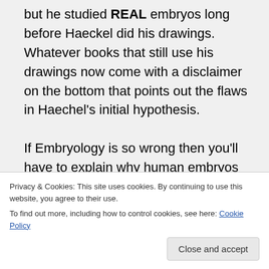but he studied REAL embryos long before Haeckel did his drawings. Whatever books that still use his drawings now come with a disclaimer on the bottom that points out the flaws in Haechel's initial hypothesis.
If Embryology is so wrong then you'll have to explain why human embryos have gill slits that are morphologically identical to the gill
Privacy & Cookies: This site uses cookies. By continuing to use this website, you agree to their use.
To find out more, including how to control cookies, see here: Cookie Policy
Close and accept
3:40 am